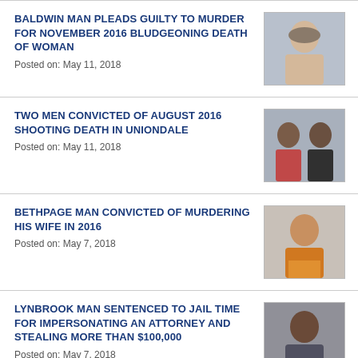BALDWIN MAN PLEADS GUILTY TO MURDER FOR NOVEMBER 2016 BLUDGEONING DEATH OF WOMAN
Posted on: May 11, 2018
[Figure (photo): Mugshot of a white bald male]
TWO MEN CONVICTED OF AUGUST 2016 SHOOTING DEATH IN UNIONDALE
Posted on: May 11, 2018
[Figure (photo): Mugshots of two Black males side by side]
BETHPAGE MAN CONVICTED OF MURDERING HIS WIFE IN 2016
Posted on: May 7, 2018
[Figure (photo): Mugshot of a Hispanic male in orange jumpsuit]
LYNBROOK MAN SENTENCED TO JAIL TIME FOR IMPERSONATING AN ATTORNEY AND STEALING MORE THAN $100,000
Posted on: May 7, 2018
[Figure (photo): Mugshot of a Black male]
QUEENS MAN PLEADS GUILTY TO STEALING ...